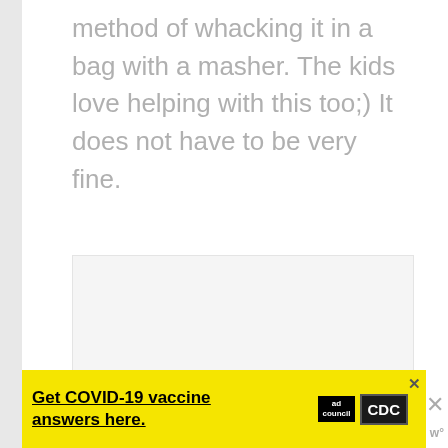method of whacking it in a bag with a masher. The kids love helping with this too;) It does not have to be very fine.
[Figure (photo): Large image placeholder area — light gray rectangle, image content not visible]
[Figure (infographic): Sidebar UI buttons: teal heart icon button, count '35', share button]
[Figure (infographic): Yellow advertisement banner: 'Get COVID-19 vaccine answers here.' with ad council and CDC logos, close X button]